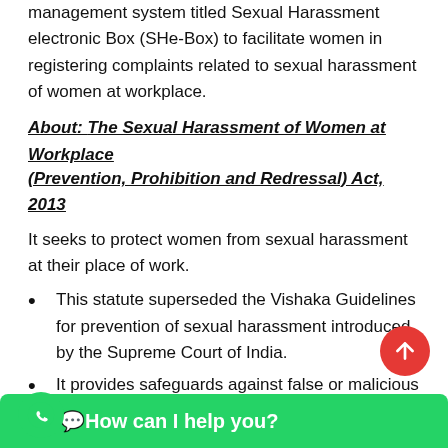management system titled Sexual Harassment electronic Box (SHe-Box) to facilitate women in registering complaints related to sexual harassment of women at workplace.
About: The Sexual Harassment of Women at Workplace (Prevention, Prohibition and Redressal) Act, 2013
It seeks to protect women from sexual harassment at their place of work.
This statute superseded the Vishaka Guidelines for prevention of sexual harassment introduced by the Supreme Court of India.
It provides safeguards against false or malicious charges.
The Act also covers concepts of 'sexual harassment' and 'hostile work...